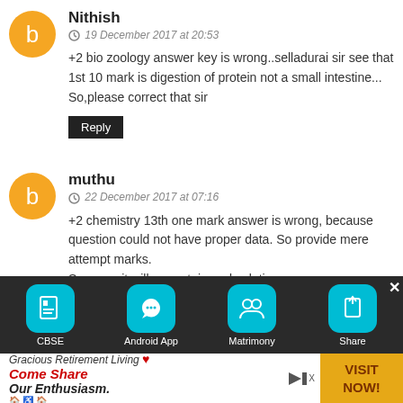Nithish
19 December 2017 at 20:53
+2 bio zoology answer key is wrong..selladurai sir see that 1st 10 mark is digestion of protein not a small intestine... So,please correct that sir
Reply
muthu
22 December 2017 at 07:16
+2 chemistry 13th one mark answer is wrong, because question could not have proper data. So provide mere attempt marks.
Suppose it will correct, i need solution.
Reply
Unknown
[Figure (screenshot): Bottom navigation toolbar with CBSE, Android App, Matrimony, Share icons on dark background]
[Figure (screenshot): Advertisement banner: Gracious Retirement Living - Come Share Our Enthusiasm. VISIT NOW!]